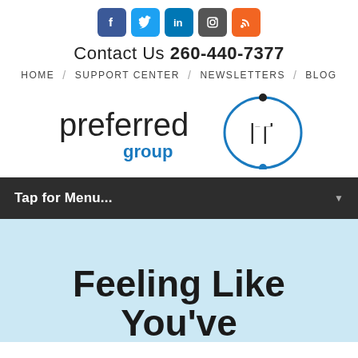[Figure (infographic): Row of 5 social media icons: Facebook (blue), Twitter (light blue), LinkedIn (dark blue), Instagram (dark gray), RSS feed (orange)]
Contact Us 260-440-7377
HOME / SUPPORT CENTER / NEWSLETTERS / BLOG
[Figure (logo): Preferred IT Group logo — 'preferred' in black, 'IT' in white inside blue circle with dots, 'group' in blue text]
Tap for Menu...
Feeling Like You've